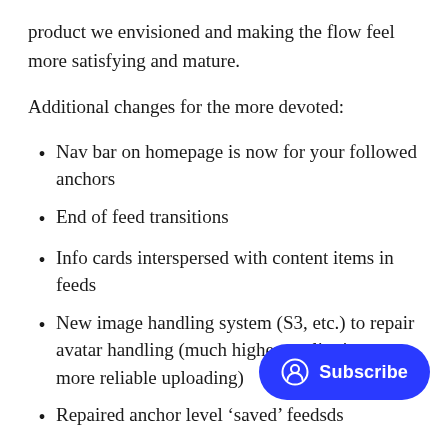product we envisioned and making the flow feel more satisfying and mature.
Additional changes for the more devoted:
Nav bar on homepage is now for your followed anchors
End of feed transitions
Info cards interspersed with content items in feeds
New image handling system (S3, etc.) to repair avatar handling (much higher quality images, more reliable uploading)
Repaired anchor level ‘saved’ feeds